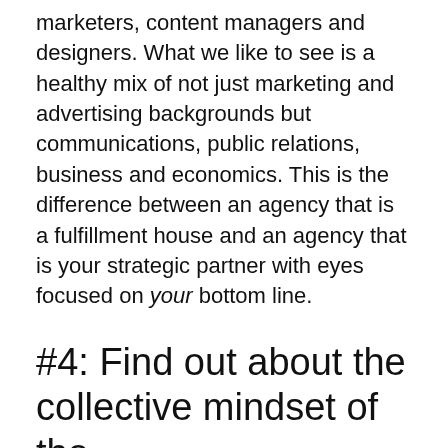marketers, content managers and designers. What we like to see is a healthy mix of not just marketing and advertising backgrounds but communications, public relations, business and economics. This is the difference between an agency that is a fulfillment house and an agency that is your strategic partner with eyes focused on your bottom line.
#4: Find out about the collective mindset of the agency
Are they focused on fulfilling on a list of deliverables? i.e., links, keyword rankings. Or, are they focused on results? i.e., leads, qualified organic traffic, conversion rates. You